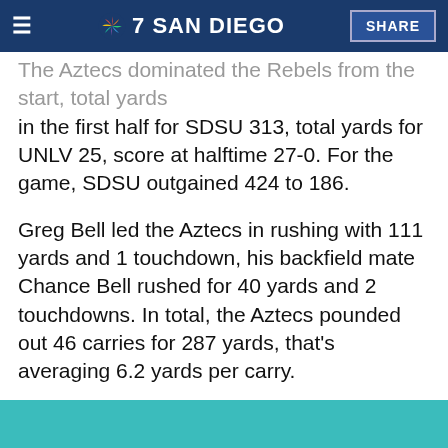NBC 7 San Diego — SHARE
The Aztecs dominated the Rebels from the start, total yards in the first half for SDSU 313, total yards for UNLV 25, score at halftime 27-0. For the game, SDSU outgained 424 to 186.
Greg Bell led the Aztecs in rushing with 111 yards and 1 touchdown, his backfield mate Chance Bell rushed for 40 yards and 2 touchdowns. In total, the Aztecs pounded out 46 carries for 287 yards, that's averaging 6.2 yards per carry.
[Figure (photo): Teal/turquoise colored image block, content not visible]